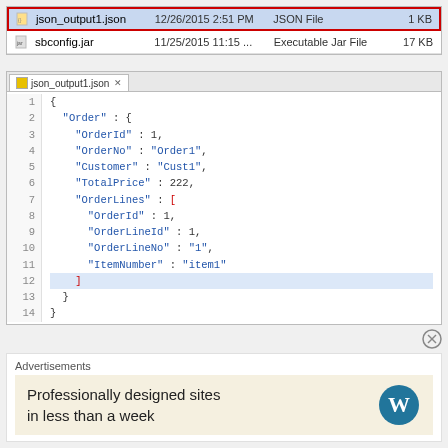[Figure (screenshot): Windows file explorer showing two files: json_output1.json (selected/highlighted in red border) dated 12/26/2015 2:51 PM, JSON File, 1 KB; and sbconfig.jar dated 11/25/2015 11:15..., Executable Jar File, 17 KB]
[Figure (screenshot): Code editor showing json_output1.json tab with JSON content: Order object with OrderId:1, OrderNo:Order1, Customer:Cust1, TotalPrice:222, OrderLines array with OrderId:1, OrderLineId:1, OrderLineNo:1, ItemNumber:item1. Line 12 is highlighted.]
Advertisements
Professionally designed sites in less than a week